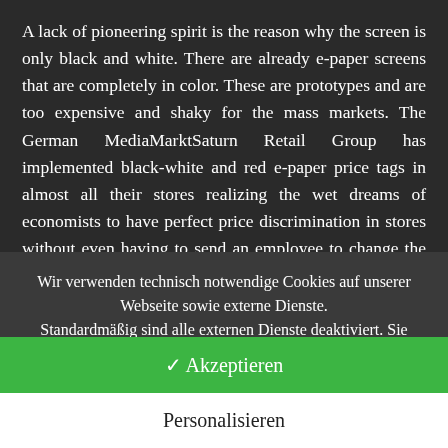A lack of pioneering spirit is the reason why the screen is only black and white. There are already e-paper screens that are completely in color. These are prototypes and are too expensive and shaky for the mass markets. The German MediaMarktSaturn Retail Group has implemented black-white and red e-paper price tags in almost all their stores realizing the wet dreams of economists to have perfect price discrimination in stores without even having to send an employee to change the price tag but just having an algorithm change the prices in store on a very well calculated basis. This means that red black and white e-paper screens are available for
Wir verwenden technisch notwendige Cookies auf unserer Webseite sowie externe Dienste. Standardmäßig sind alle externen Dienste deaktiviert. Sie können diese jedoch nach belieben aktivieren & deaktivieren. Für weitere Informationen lesen Sie unsere Datenschutzbestimmungen.
✓ Akzeptieren
Personalisieren